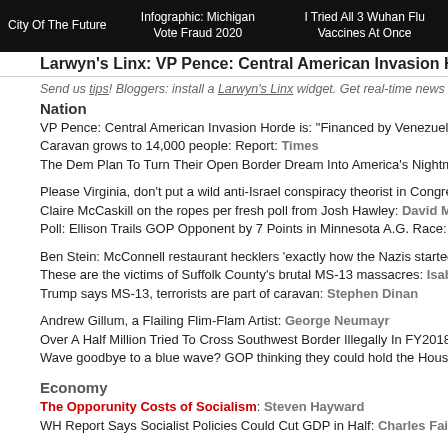City Of The Future | Infographic: Michigan Vote Fraud 2020 | I Tried All 3 Wuhan Flu Vaccines At Once
Larwyn's Linx: VP Pence: Central American Invasion Ho...
Send us tips! Bloggers: install a Larwyn's Linx widget. Get real-time news...
Nation
VP Pence: Central American Invasion Horde is: "Financed by Venezuela..."
Caravan grows to 14,000 people: Report: Times
The Dem Plan To Turn Their Open Border Dream Into America's Nightma...
Please Virginia, don't put a wild anti-Israel conspiracy theorist in Congres...
Claire McCaskill on the ropes per fresh poll from Josh Hawley: David M...
Poll: Ellison Trails GOP Opponent by 7 Points in Minnesota A.G. Race: D...
Ben Stein: McConnell restaurant hecklers 'exactly how the Nazis started...
These are the victims of Suffolk County's brutal MS-13 massacres: Isabe...
Trump says MS-13, terrorists are part of caravan: Stephen Dinan
Andrew Gillum, a Flailing Flim-Flam Artist: George Neumayr
Over A Half Million Tried To Cross Southwest Border Illegally In FY2018:...
Wave goodbye to a blue wave? GOP thinking they could hold the House...
Economy
The Opporunity Costs of Socialism: Steven Hayward
WH Report Says Socialist Policies Could Cut GDP in Half: Charles Fain...